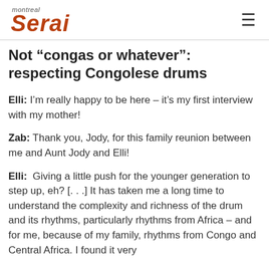montreal serai
Not “congas or whatever”: respecting Congolese drums
Elli: I’m really happy to be here – it’s my first interview with my mother!
Zab: Thank you, Jody, for this family reunion between me and Aunt Jody and Elli!
Elli: Giving a little push for the younger generation to step up, eh? [. . .] It has taken me a long time to understand the complexity and richness of the drum and its rhythms, particularly rhythms from Africa – and for me, because of my family, rhythms from Congo and Central Africa. I found it very